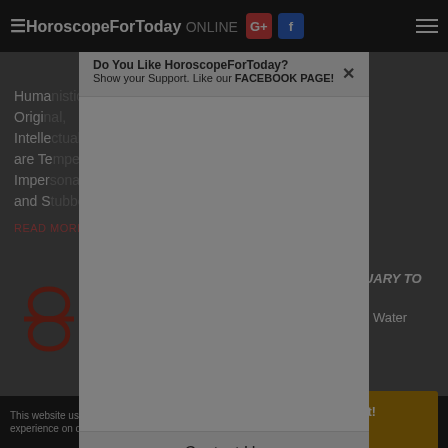HoroscopeForToday ONLINE
Aquarius is symbolized by the Water... Humanistic, Individualistic, Original, Technological, Intellectual... characteristics are Temperamental, Impersonal... opinions and S...
READ MORE
[Figure (screenshot): Modal popup: 'Do You Like HoroscopeForToday? Show your Support. Like our FACEBOOK PAGE!' with a close X button and Contact Us footer link]
[Figure (illustration): Pisces zodiac symbol in dark red]
THE ZODIAC PISCES DATES: 19 FEBRUARY TO 20 MARCH Pisces is symbolized by the Fish. It is a Mutable Water sign. The positive
This website uses cookies to ensure you get the best experience on our website. Got it!